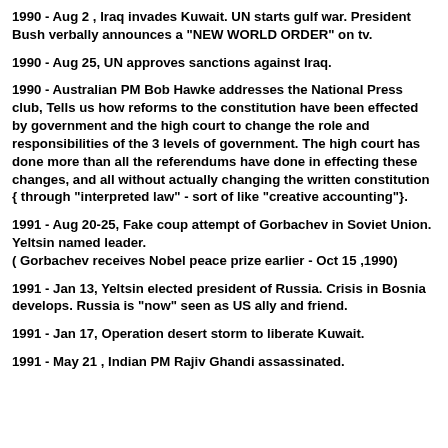1990 - Aug 2 , Iraq invades Kuwait. UN starts gulf war. President Bush verbally announces a "NEW WORLD ORDER" on tv.
1990 - Aug 25, UN approves sanctions against Iraq.
1990 - Australian PM Bob Hawke addresses the National Press club, Tells us how reforms to the constitution have been effected by government and the high court to change the role and responsibilities of the 3 levels of government. The high court has done more than all the referendums have done in effecting these changes, and all without actually changing the written constitution { through "interpreted law" - sort of like "creative accounting"}.
1991 - Aug 20-25, Fake coup attempt of Gorbachev in Soviet Union. Yeltsin named leader.
( Gorbachev receives Nobel peace prize earlier - Oct 15 ,1990)
1991 - Jan 13, Yeltsin elected president of Russia. Crisis in Bosnia develops. Russia is "now" seen as US ally and friend.
1991 - Jan 17, Operation desert storm to liberate Kuwait.
1991 - May 21 , Indian PM Rajiv Ghandi assassinated.